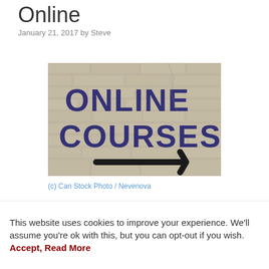Online
January 21, 2017 by Steve
[Figure (photo): Photo of a brick wall with 'ONLINE COURSES' spray-painted in dark blue letters with a right-pointing arrow below]
(c) Can Stock Photo / Nevenova
Energy Healing has been practised by all
This website uses cookies to improve your experience. We'll assume you're ok with this, but you can opt-out if you wish. Accept, Read More